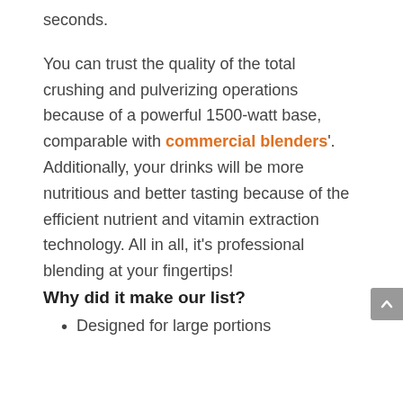seconds.
You can trust the quality of the total crushing and pulverizing operations because of a powerful 1500-watt base, comparable with commercial blenders'. Additionally, your drinks will be more nutritious and better tasting because of the efficient nutrient and vitamin extraction technology. All in all, it's professional blending at your fingertips!
Why did it make our list?
Designed for large portions